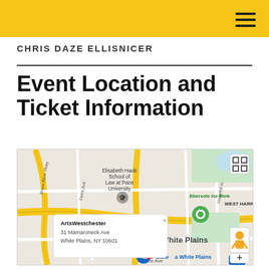CHRIS DAZE ELLISNICER
Event Location and Ticket Information
[Figure (map): Google Map showing ArtsWestchester at 31 Mamaroneck Ave, White Plains, NY 10601, with a popup info window and a red location pin near Galleria White Plains. Nearby landmarks include Elisabeth Haub School of Law at Pace University, Ebersole Ice Rink, and Bronx River Pkwy.]